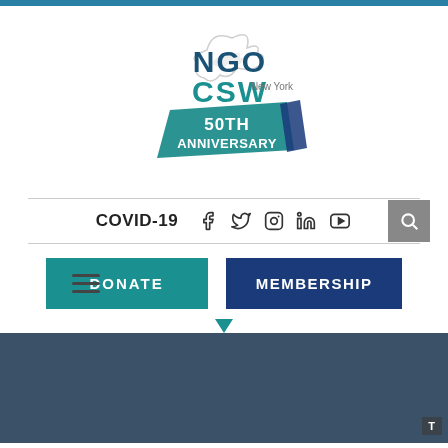[Figure (logo): NGO CSW New York 50th Anniversary logo (1972-2022) with dove illustration]
COVID-19
[Figure (infographic): Navigation bar with social media icons: Facebook, Twitter, Instagram, LinkedIn, YouTube, and search button]
[Figure (infographic): Action bar with hamburger menu, DONATE button (teal), and MEMBERSHIP button (dark blue)]
[Figure (photo): Dark blue/slate background section (hero area)]